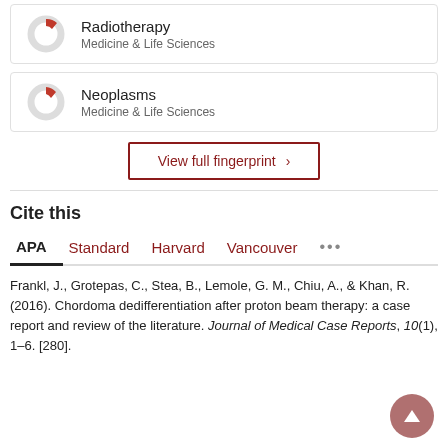[Figure (donut-chart): Partial donut/ring chart icon for Radiotherapy, Medicine & Life Sciences]
Radiotherapy
Medicine & Life Sciences
[Figure (donut-chart): Partial donut/ring chart icon for Neoplasms, Medicine & Life Sciences]
Neoplasms
Medicine & Life Sciences
View full fingerprint ›
Cite this
APA  Standard  Harvard  Vancouver  •••
Frankl, J., Grotepas, C., Stea, B., Lemole, G. M., Chiu, A., & Khan, R. (2016). Chordoma dedifferentiation after proton beam therapy: a case report and review of the literature. Journal of Medical Case Reports, 10(1), 1–6. [280].